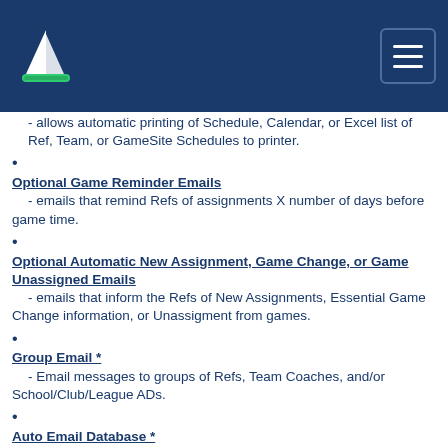Navigation header with logo and menu button
- allows automatic printing of Schedule, Calendar, or Excel list of Ref, Team, or GameSite Schedules to printer.
Optional Game Reminder Emails - emails that remind Refs of assignments X number of days before game time.
Optional Automatic New Assignment, Game Change, or Game Unassigned Emails - emails that inform the Refs of New Assignments, Essential Game Change information, or Unassigment from games.
Group Email * - Email messages to groups of Refs, Team Coaches, and/or School/Club/League ADs.
Auto Email Database * - allows automatic emailing of Ref Scheduler Access Database - for migration to Web Version or evaluation purposes.
Multiple Ref Selection Functions - allows selection of Refs... without email, with no games, displays # of games, without meeting attendance...
Multiple Game Selection Functions - allows selection of Games... without Refs assigned, Select Games by Ref, Team, School, Date...
Sites List - Unlimited GameSites are available - Associated or Unassociated